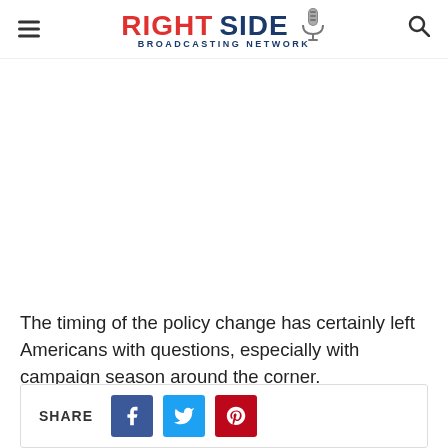RIGHT SIDE BROADCASTING NETWORK
The timing of the policy change has certainly left Americans with questions, especially with campaign season around the corner.
SHARE (Facebook, Twitter, Pinterest)